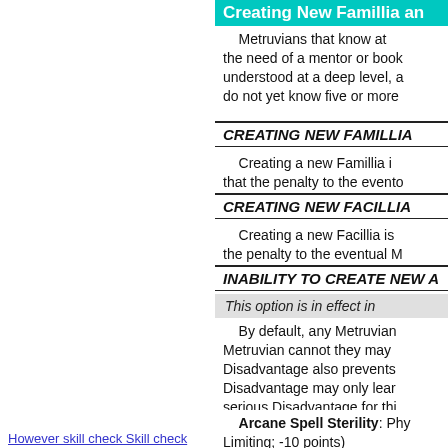Creating New Famillia an...
Metruvians that know at... the need of a mentor or book... understood at a deep level, a... do not yet know five or more...
CREATING NEW FAMILLIA
Creating a new Famillia i... that the penalty to the evento...
CREATING NEW FACILLIA
Creating a new Facillia is... the penalty to the eventual M...
INABILITY TO CREATE NEW A...
This option is in effect in...
By default, any Metruvian... Metruvian cannot they may... Disadvantage also prevents... Disadvantage may only lear... serious Disadvantage for thi... it.
Arcane Spell Sterility: Phy... Limiting; -10 points)
However skill check Skill check...